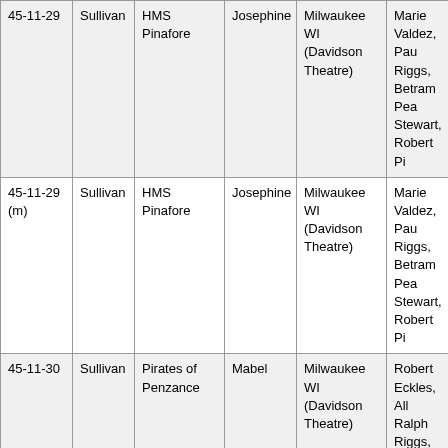| 45-11-29 | Sullivan | HMS Pinafore | Josephine | Milwaukee WI (Davidson Theatre) | Marie Valdez, Paul Riggs, Betram Pea Stewart, Robert Pi |
| 45-11-29 (m) | Sullivan | HMS Pinafore | Josephine | Milwaukee WI (Davidson Theatre) | Marie Valdez, Pau Riggs, Betram Pea Stewart, Robert Pi |
| 45-11-30 | Sullivan | Pirates of Penzance | Mabel | Milwaukee WI (Davidson Theatre) | Robert Eckles, All Ralph Riggs, Paul |
| 46-07-09 | N/A | Radio - Arthur Godfrey Talent Scouts | contestant | New York NY, CBS radio studios | N/A |
| 46-10-23 (M) | Kalman | Grafin Mariza | Countess Mariza | Columbus OH, Hartman Theatre | Frank Melton |
| 46-11-06 (eve) | Kalman | Grafin Mariza | Countess Mariza | Pittsburgh PA (Nixon Theatre) | Frank Melton |